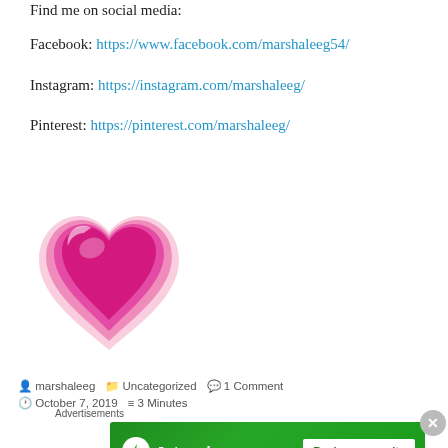Find me on social media:
Facebook: https://www.facebook.com/marshaleeg54/
Instagram: https://instagram.com/marshaleeg/
Pinterest: https://pinterest.com/marshaleeg/
[Figure (illustration): Pink heart emoji illustration with layered 3D glossy effect]
marshaleeg   Uncategorized   1 Comment
October 7, 2019   3 Minutes
Advertisements
[Figure (screenshot): Jetpack advertisement banner with green background and Back up your site button]